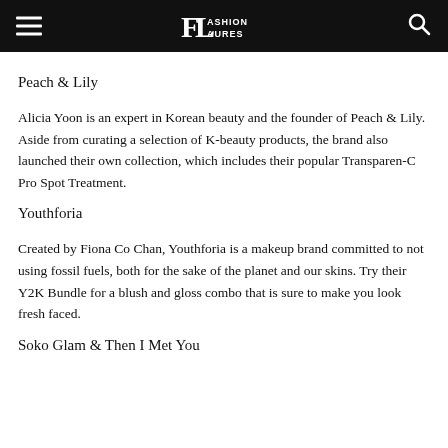Fashion Laures
Peach & Lily
Alicia Yoon is an expert in Korean beauty and the founder of Peach & Lily. Aside from curating a selection of K-beauty products, the brand also launched their own collection, which includes their popular Transparen-C Pro Spot Treatment.
Youthforia
Created by Fiona Co Chan, Youthforia is a makeup brand committed to not using fossil fuels, both for the sake of the planet and our skins. Try their Y2K Bundle for a blush and gloss combo that is sure to make you look fresh faced.
Soko Glam & Then I Met You